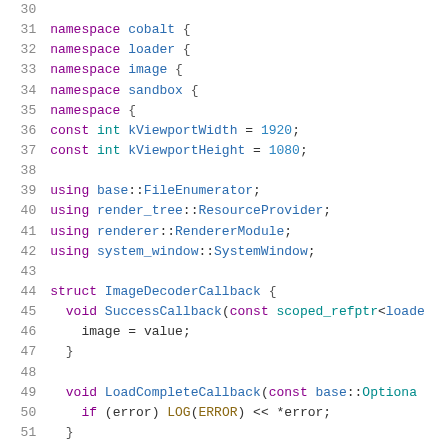Source code listing lines 30-51, C++ code including namespace declarations, constants, using statements, and struct definition with callback methods.